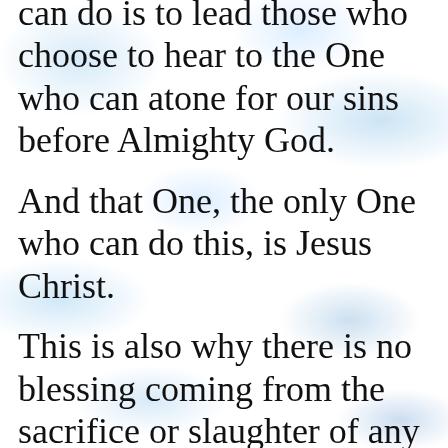can do is to lead those who choose to hear to the One who can atone for our sins before Almighty God.
And that One, the only One who can do this, is Jesus Christ.
This is also why there is no blessing coming from the sacrifice or slaughter of any animal, for any reason.